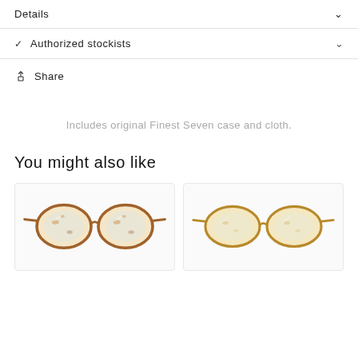Details
Authorized stockists
Share
Includes original Finest Seven case and cloth.
You might also like
[Figure (photo): Round tortoiseshell eyeglasses frames, warm amber/brown color]
[Figure (photo): Round eyeglasses frames in lighter honey/amber color]